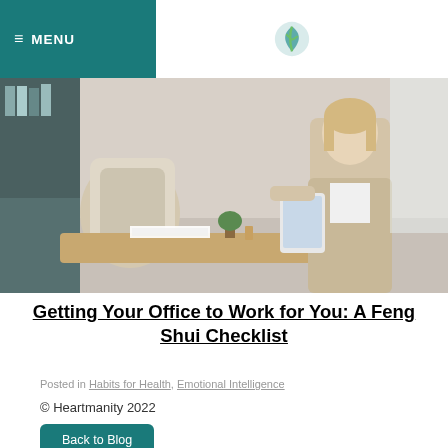≡ MENU
[Figure (photo): Office scene with a woman in a beige blazer holding a tablet, standing near a desk with office supplies and plants]
Getting Your Office to Work for You: A Feng Shui Checklist
Posted in Habits for Health, Emotional Intelligence
© Heartmanity 2022
Back to Blog
FREE NEWSLETTER!
Email Address*